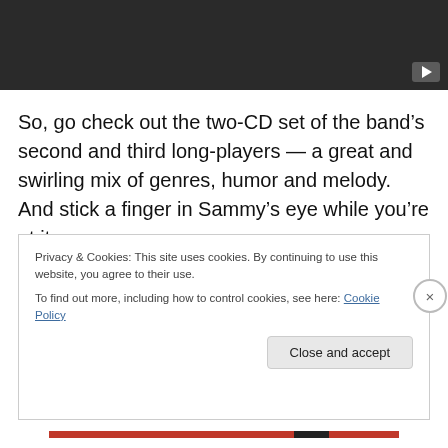[Figure (screenshot): Dark video player thumbnail with play button icon in bottom right corner]
So, go check out the two-CD set of the band’s second and third long-players — a great and swirling mix of genres, humor and melody. And stick a finger in Sammy’s eye while you’re at it.
Privacy & Cookies: This site uses cookies. By continuing to use this website, you agree to their use.
To find out more, including how to control cookies, see here: Cookie Policy
Close and accept